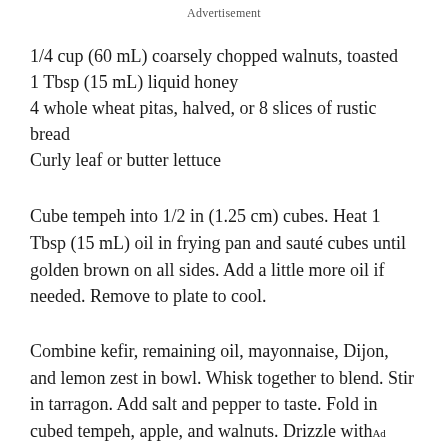Advertisement
1/4 cup (60 mL) coarsely chopped walnuts, toasted
1 Tbsp (15 mL) liquid honey
4 whole wheat pitas, halved, or 8 slices of rustic bread
Curly leaf or butter lettuce
Cube tempeh into 1/2 in (1.25 cm) cubes. Heat 1 Tbsp (15 mL) oil in frying pan and sauté cubes until golden brown on all sides. Add a little more oil if needed. Remove to plate to cool.
Combine kefir, remaining oil, mayonnaise, Dijon, and lemon zest in bowl. Whisk together to blend. Stir in tarragon. Add salt and pepper to taste. Fold in cubed tempeh, apple, and walnuts. Drizzle with